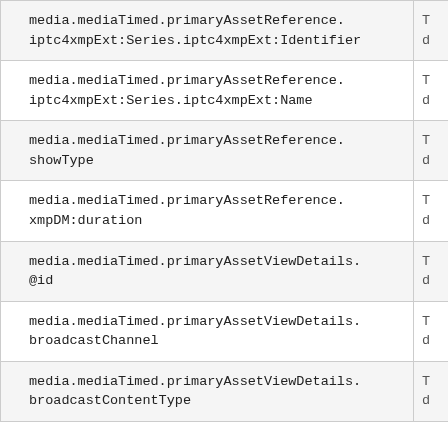| media.mediaTimed.primaryAssetReference.
iptc4xmpExt:Series.iptc4xmpExt:Identifier | T
d |
| media.mediaTimed.primaryAssetReference.
iptc4xmpExt:Series.iptc4xmpExt:Name | T
d |
| media.mediaTimed.primaryAssetReference.
showType | T
d |
| media.mediaTimed.primaryAssetReference.
xmpDM:duration | T
d |
| media.mediaTimed.primaryAssetViewDetails.
@id | T
d |
| media.mediaTimed.primaryAssetViewDetails.
broadcastChannel | T
d |
| media.mediaTimed.primaryAssetViewDetails.
broadcastContentType | T
d |